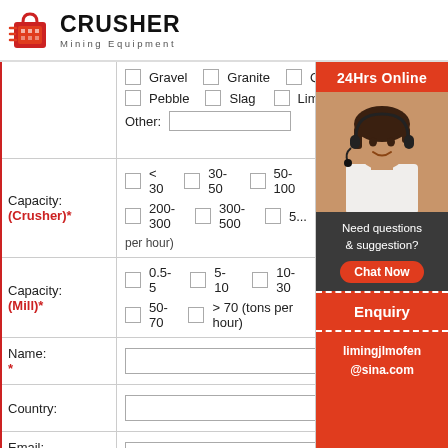[Figure (logo): Crusher Mining Equipment logo with red shopping bag icon and bold black CRUSHER text]
|  | ☐ Gravel  ☐ Granite  ☐ Quartz
☐ Pebble  ☐ Slag  ☐ Limestone
Other: [input] |
| Capacity:
(Crusher)* | ☐ <30  ☐ 30-50  ☐ 50-100
☐ 200-300  ☐ 300-500  ☐ 5...
(tons per hour) |
| Capacity:
(Mill)* | ☐ 0.5-5  ☐ 5-10  ☐ 10-30
☐ 50-70  ☐ >70 (tons per hour) |
| Name:* | [text input] |
| Country: | [text input] |
| Email:* | [text input] |
| Tel:* | [text input] |
| Message: | [text input] |
[Figure (photo): Woman with headset smiling, customer service representative, with 24Hrs Online banner, Need questions & suggestion text, Chat Now button, Enquiry section, and limingjlmofen@sina.com email]